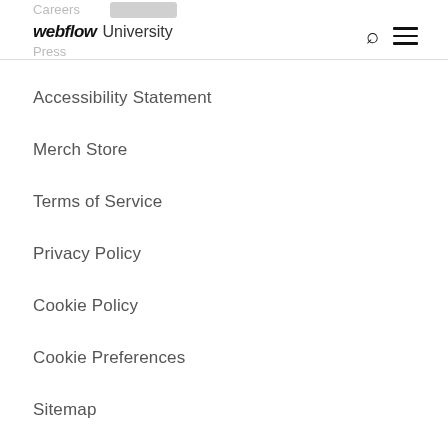webflow University
Accessibility Statement
Merch Store
Terms of Service
Privacy Policy
Cookie Policy
Cookie Preferences
Sitemap